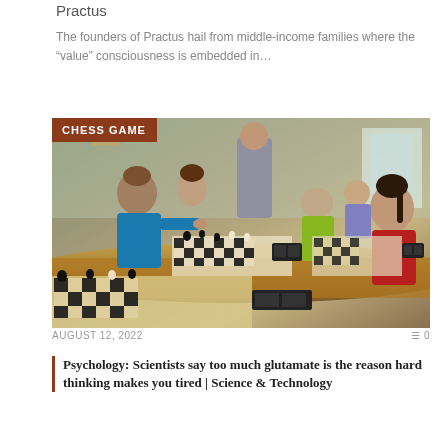Practus
The founders of Practus hail from middle-income families where the “value” consciousness is embedded in…
[Figure (photo): Children playing chess at long tables in a classroom setting, with an adult standing in the background. A brown/terracotta label reads 'CHESS GAME' in the upper left corner.]
AUGUST 12, 2022   0 0
Psychology: Scientists say too much glutamate is the reason hard thinking makes you tired | Science & Technology